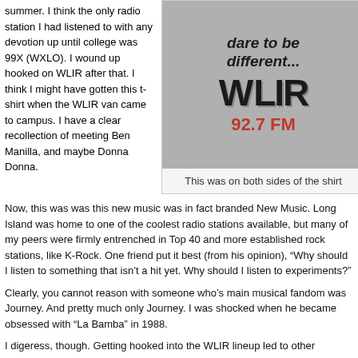summer. I think the only radio station I had listened to with any devotion up until college was 99X (WXLO). I wound up hooked on WLIR after that. I think I might have gotten this t-shirt when the WLIR van came to campus. I have a clear recollection of meeting Ben Manilla, and maybe Donna Donna.
[Figure (photo): Photo of a white t-shirt with text 'dare to be different... WLIR 92.7 FM' printed on it]
This was on both sides of the shirt
Now, this was was this new music was in fact branded New Music. Long Island was home to one of the coolest radio stations available, but many of my peers were firmly entrenched in Top 40 and more established rock stations, like K-Rock. One friend put it best (from his opinion), "Why should I listen to something that isn't a hit yet. Why should I listen to experiments?"
Clearly, you cannot reason with someone who's main musical fandom was Journey. And pretty much only Journey. I was shocked when he became obsessed with "La Bamba" in 1988.
I digeress, though. Getting hooked into the WLIR lineup led to other seditious activities, like reading NME and Melodymaker from Britain. By July 1983, an old childhood friend asked with surprise, "When did you get cool?"